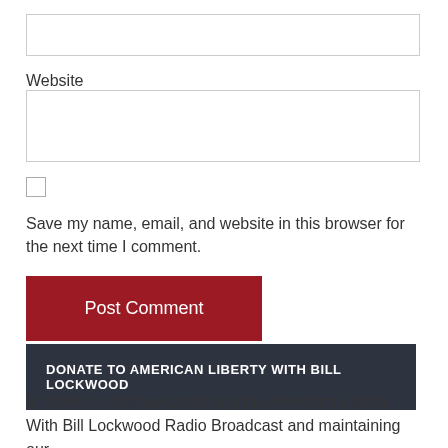[input box - top]
Website
[input box - website]
[checkbox]
Save my name, email, and website in this browser for the next time I comment.
Post Comment
DONATE TO AMERICAN LIBERTY WITH BILL LOCKWOOD
In order to continue producing the American Liberty With Bill Lockwood Radio Broadcast and maintaining our